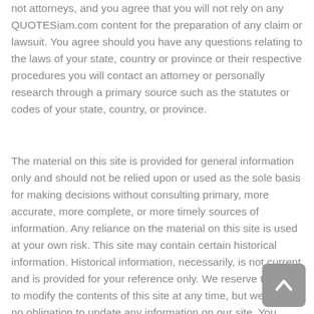not attorneys, and you agree that you will not rely on any QUOTESiam.com content for the preparation of any claim or lawsuit. You agree should you have any questions relating to the laws of your state, country or province or their respective procedures you will contact an attorney or personally research through a primary source such as the statutes or codes of your state, country, or province.
The material on this site is provided for general information only and should not be relied upon or used as the sole basis for making decisions without consulting primary, more accurate, more complete, or more timely sources of information. Any reliance on the material on this site is used at your own risk. This site may contain certain historical information. Historical information, necessarily, is not current and is provided for your reference only. We reserve the right to modify the contents of this site at any time, but we have no obligation to update any information on our site. You agree that it is your responsibility to monitor changes to our site.